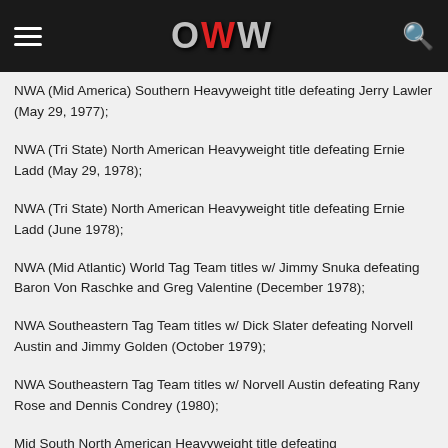OWW
NWA (Mid America) Southern Heavyweight title defeating Jerry Lawler (May 29, 1977);
NWA (Tri State) North American Heavyweight title defeating Ernie Ladd (May 29, 1978);
NWA (Tri State) North American Heavyweight title defeating Ernie Ladd (June 1978);
NWA (Mid Atlantic) World Tag Team titles w/ Jimmy Snuka defeating Baron Von Raschke and Greg Valentine (December 1978);
NWA Southeastern Tag Team titles w/ Dick Slater defeating Norvell Austin and Jimmy Golden (October 1979);
NWA Southeastern Tag Team titles w/ Norvell Austin defeating Rany Rose and Dennis Condrey (1980);
Mid South North American Heavyweight title defeating